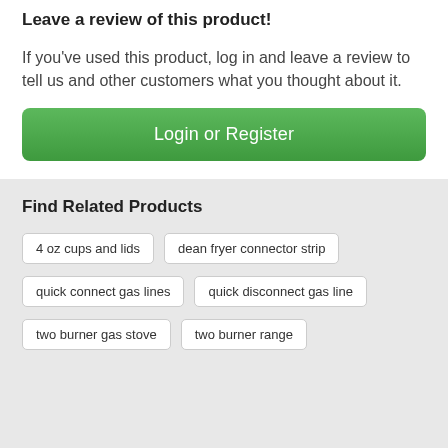Leave a review of this product!
If you've used this product, log in and leave a review to tell us and other customers what you thought about it.
Login or Register
Find Related Products
4 oz cups and lids
dean fryer connector strip
quick connect gas lines
quick disconnect gas line
two burner gas stove
two burner range
[Figure (illustration): Social media icons: Facebook, Pinterest, Twitter, YouTube, Instagram]